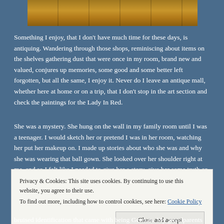[Figure (photo): Partial view of a painting or antique item showing warm golden-brown tones, likely a framed artwork]
Something I enjoy, that I don't have much time for these days, is antiquing. Wandering through those shops, reminiscing about items on the shelves gathering dust that were once in my room, brand new and valued, conjures up memories, some good and some better left forgotten, but all the same, I enjoy it. Never do I leave an antique mall, whether here at home or on a trip, that I don't stop in the art section and check the paintings for the Lady In Red.
She was a mystery. She hung on the wall in my family room until I was a teenager. I would sketch her or pretend I was in her room, watching her put her makeup on. I made up stories about who she was and why she was wearing that ball gown. She looked over her shoulder right at me, and so I felt like I needed to give her a story, give her some truth or identity.
Privacy & Cookies: This site uses cookies. By continuing to use this website, you agree to their use.
To find out more, including how to control cookies, see here: Cookie Policy
bruised identification that came with being German. My grandparents left